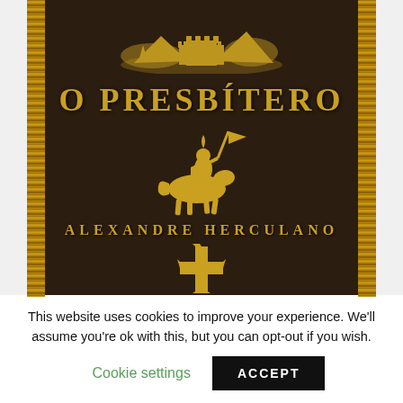[Figure (illustration): Book cover of 'O Presbítero' by Alexandre Herculano. Dark brown leather-textured cover with gold decorative borders on left and right sides. Gold illustration of a medieval castle/cityscape at top, large gold title text 'O PRESBÍTERO' in the center-upper area, gold illustration of a knight on horseback carrying a flag in the middle, author name 'ALEXANDRE HERCULANO' below the knight, and a gold Templar cross at the bottom.]
This website uses cookies to improve your experience. We'll assume you're ok with this, but you can opt-out if you wish.
Cookie settings   ACCEPT